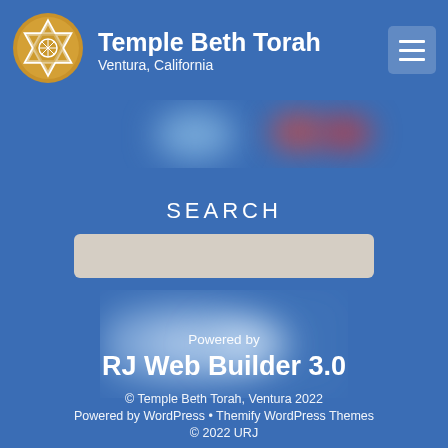Temple Beth Torah • Ventura, California
[Figure (logo): Temple Beth Torah star of David logo with decorative border, gold and white colors]
SEARCH
[Figure (other): Blurred search result or navigation block in blue/white tones]
Powered by
RJ Web Builder 3.0
© Temple Beth Torah, Ventura 2022
Powered by WordPress • Themify WordPress Themes
© 2022 URJ